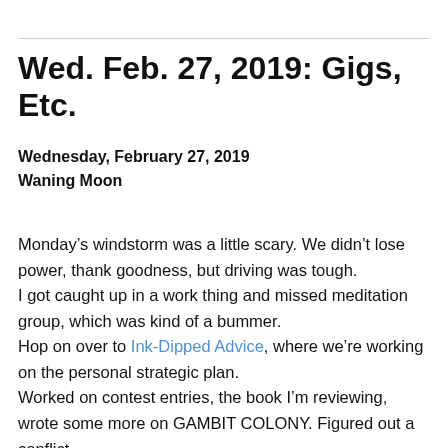Wed. Feb. 27, 2019: Gigs, Etc.
Wednesday, February 27, 2019
Waning Moon
Monday’s windstorm was a little scary. We didn’t lose power, thank goodness, but driving was tough.
I got caught up in a work thing and missed meditation group, which was kind of a bummer.
Hop on over to Ink-Dipped Advice, where we’re working on the personal strategic plan.
Worked on contest entries, the book I’m reviewing, wrote some more on GAMBIT COLONY. Figured out a conflict